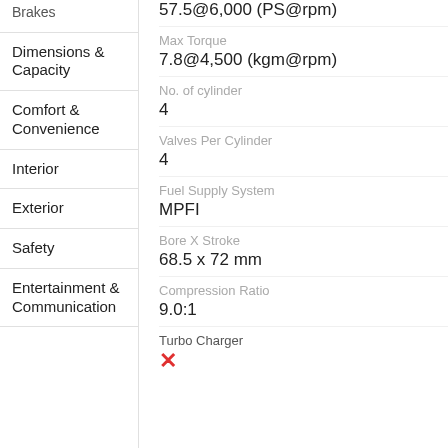Brakes
57.5@6,000 (PS@rpm)
Dimensions & Capacity
Max Torque
7.8@4,500 (kgm@rpm)
Comfort & Convenience
No. of cylinder
4
Interior
Valves Per Cylinder
4
Exterior
Fuel Supply System
MPFI
Safety
Bore X Stroke
68.5 x 72 mm
Entertainment & Communication
Compression Ratio
9.0:1
Turbo Charger
✗